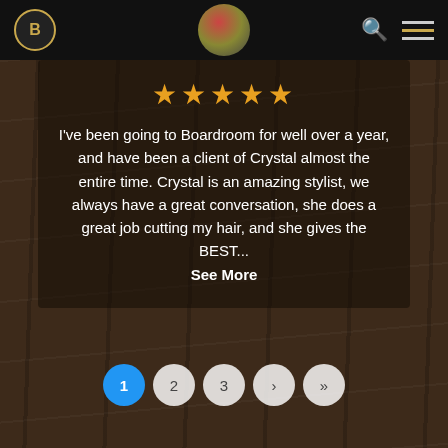[Figure (screenshot): Navigation bar with B logo, circular image in center, search icon and hamburger menu on right]
[Figure (infographic): Five gold stars rating]
I've been going to Boardroom for well over a year, and have been a client of Crystal almost the entire time. Crystal is an amazing stylist, we always have a great conversation, she does a great job cutting my hair, and she gives the BEST... See More
[Figure (infographic): Pagination controls: 1 (active, blue), 2, 3, >, >>]